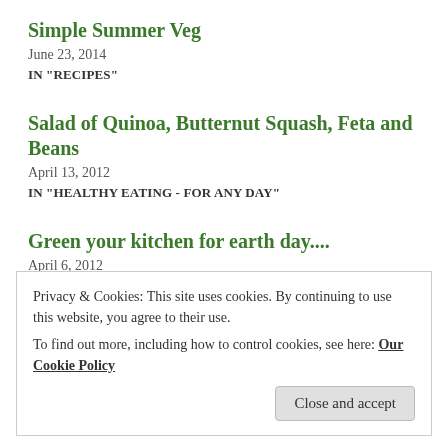Simple Summer Veg
June 23, 2014
IN "RECIPES"
Salad of Quinoa, Butternut Squash, Feta and Beans
April 13, 2012
IN "HEALTHY EATING - FOR ANY DAY"
Green your kitchen for earth day....
April 6, 2012
Privacy & Cookies: This site uses cookies. By continuing to use this website, you agree to their use.
To find out more, including how to control cookies, see here: Our Cookie Policy
Close and accept